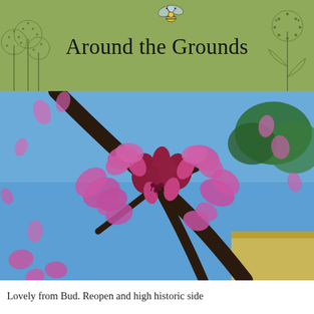Around the Grounds
[Figure (photo): Close-up photograph of Eastern Redbud (Cercis canadensis) blossoms in vivid pink-purple color, clustered on dark brown branches, with a blue sky and green tree foliage visible in the background and a yellow building edge at bottom right.]
Lovely from Bud. Reopen and high historic side...